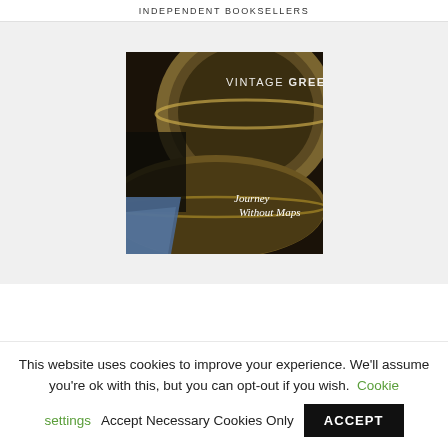INDEPENDENT BOOKSELLERS
[Figure (photo): Book cover: 'Journey Without Maps' by Vintage Greene. Dark moody close-up photo of what appears to be wooden bowls or plates. Text on cover reads 'VINTAGE GREENE' at top right and 'Journey Without Maps' in italic font at lower right.]
This website uses cookies to improve your experience. We'll assume you're ok with this, but you can opt-out if you wish. Cookie settings    Accept Necessary Cookies Only    ACCEPT